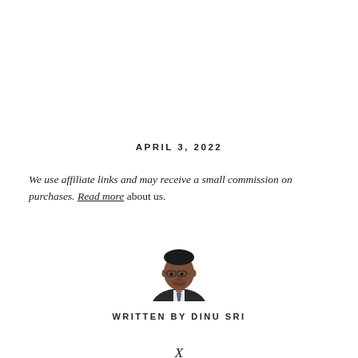APRIL 3, 2022
We use affiliate links and may receive a small commission on purchases. Read more about us.
[Figure (photo): Headshot photo of Dinu Sri, a man with glasses wearing a suit and tie]
WRITTEN BY DINU SRI
X